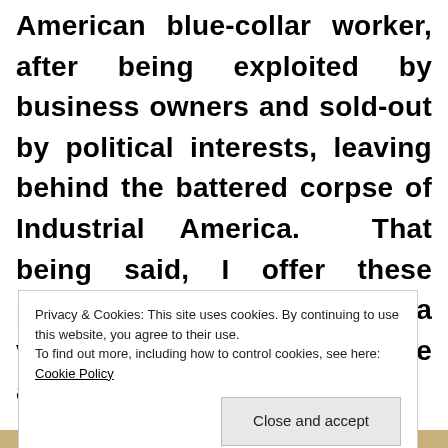American blue-collar worker, after being exploited by business owners and sold-out by political interests, leaving behind the battered corpse of Industrial America.  That being said, I offer these photos to you, the viewer, as a visual autopsy of the abandoned Scranton Lace
Privacy & Cookies: This site uses cookies. By continuing to use this website, you agree to their use.
To find out more, including how to control cookies, see here: Cookie Policy
[Figure (photo): Bottom strip showing the top edge of a sepia/tan-toned photograph]